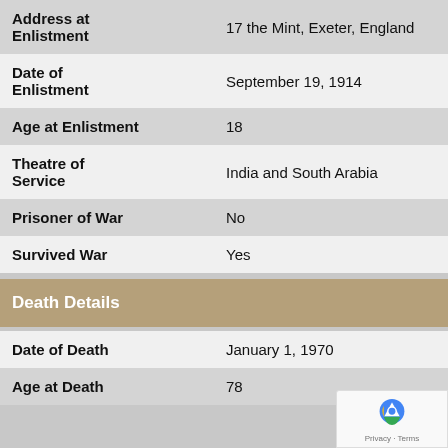| Field | Value |
| --- | --- |
| Address at Enlistment | 17 the Mint, Exeter, England |
| Date of Enlistment | September 19, 1914 |
| Age at Enlistment | 18 |
| Theatre of Service | India and South Arabia |
| Prisoner of War | No |
| Survived War | Yes |
Death Details
| Field | Value |
| --- | --- |
| Date of Death | January 1, 1970 |
| Age at Death | 78 |